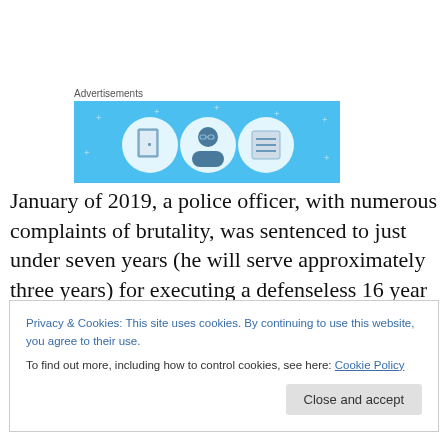[Figure (illustration): Advertisement banner with light blue background featuring three circular icons: a door/notebook icon, a person/avatar icon with glasses, and a lined notebook/list icon, with small white star/plus decorations scattered around]
January of 2019, a police officer, with numerous complaints of brutality, was sentenced to just under seven years (he will serve approximately three years) for executing a defenseless 16 year old boy in front of a
Privacy & Cookies: This site uses cookies. By continuing to use this website, you agree to their use.
To find out more, including how to control cookies, see here: Cookie Policy
Close and accept